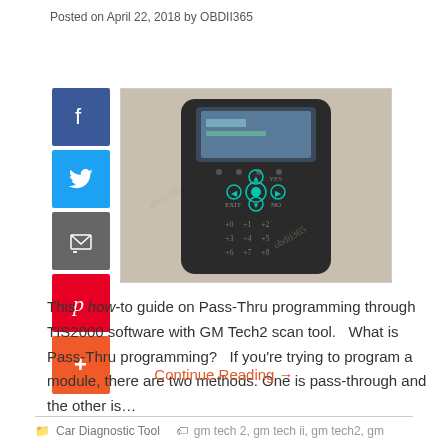Posted on April 22, 2018 by OBDII365
[Figure (photo): GM Tech2 scan tool diagnostic device with keypad and screen]
This how-to guide on Pass-Thru programming through TIS2000 software with GM Tech2 scan tool.   What is Pass-Thru programming?   If you're trying to program a module, there are two methods. One is pass-through and the other is…
Continue Reading →
Car Diagnostic Tool   gm tech 2, gm tech ii, gm tech2, gm